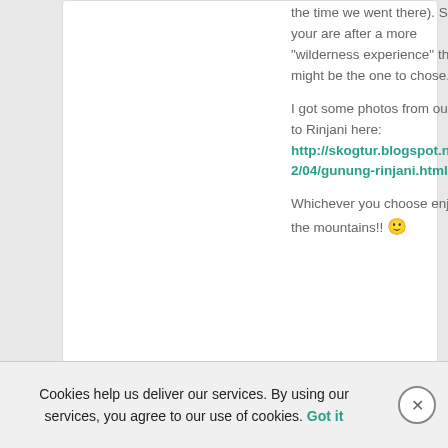the time we went there). So if your are after a more "wilderness experience" this might be the one to chose.
I got some photos from our trip to Rinjani here: http://skogtur.blogspot.no/2012/04/gunung-rinjani.html
Whichever you choose enjoy the mountains!! 🙂
Cookies help us deliver our services. By using our services, you agree to our use of cookies. Got it